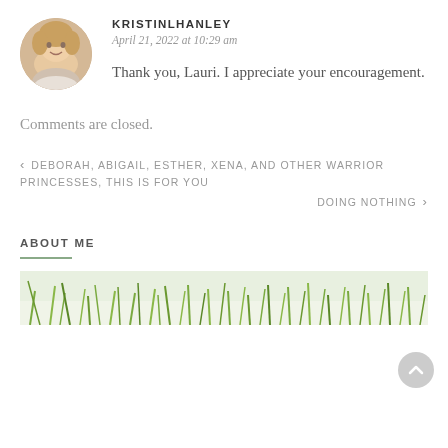[Figure (photo): Circular avatar photo of a smiling blonde woman with hand near face]
KRISTINLHANLEY
April 21, 2022 at 10:29 am
Thank you, Lauri. I appreciate your encouragement.
Comments are closed.
‹ DEBORAH, ABIGAIL, ESTHER, XENA, AND OTHER WARRIOR PRINCESSES, THIS IS FOR YOU
DOING NOTHING ›
ABOUT ME
[Figure (photo): Decorative nature photo strip showing green grass and plant stems]